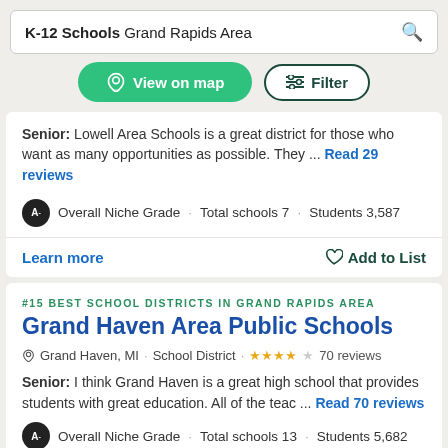K-12 Schools Grand Rapids Area
View on map | Filter
Senior: Lowell Area Schools is a great district for those who want as many opportunities as possible. They ... Read 29 reviews
A- Overall Niche Grade · Total schools 7 · Students 3,587
Learn more | Add to List
#15 BEST SCHOOL DISTRICTS IN GRAND RAPIDS AREA
Grand Haven Area Public Schools
Grand Haven, MI · School District · ★★★★☆ 70 reviews
Senior: I think Grand Haven is a great high school that provides students with great education. All of the teac ... Read 70 reviews
A- Overall Niche Grade · Total schools 13 · Students 5,682